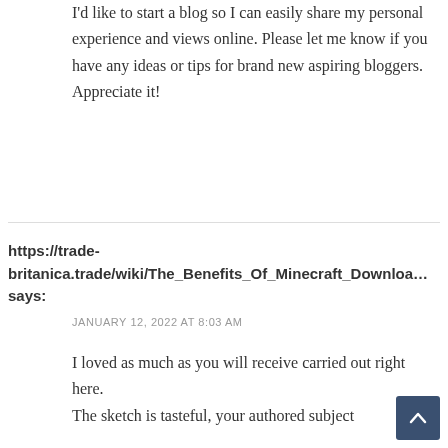I'd like to start a blog so I can easily share my personal experience and views online. Please let me know if you have any ideas or tips for brand new aspiring bloggers. Appreciate it!
https://trade-britanica.trade/wiki/The_Benefits_Of_Minecraft_Download says:
JANUARY 12, 2022 AT 8:03 AM
I loved as much as you will receive carried out right here. The sketch is tasteful, your authored subject